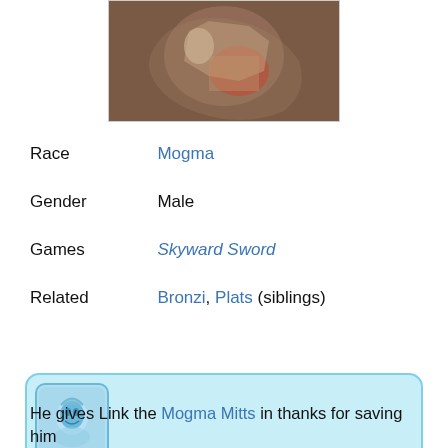[Figure (screenshot): Close-up screenshot from Skyward Sword showing a character with brown/orange tones and a red element, appearing to be a Mogma character]
| Race | Mogma |
| Gender | Male |
| Games | Skyward Sword |
| Related | Bronzi, Plats (siblings) |
[Figure (illustration): Blue-tinted character portrait icon in a rounded square, showing a Zelda character face with blue flame/water styling]
He gives Link the Mogma Mitts in thanks for saving him